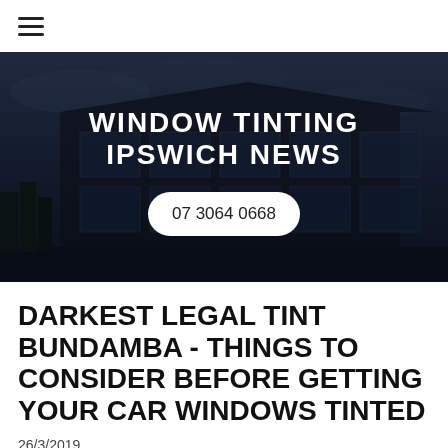≡
[Figure (photo): Dark hero banner showing a modern commercial building with large glass windows at night/dusk, overlaid with text 'WINDOW TINTING IPSWICH NEWS' and a phone number button '07 3064 0668']
DARKEST LEGAL TINT BUNDAMBA - THINGS TO CONSIDER BEFORE GETTING YOUR CAR WINDOWS TINTED
26/3/2019